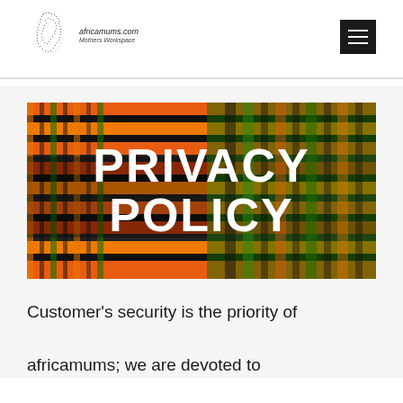[Figure (logo): africamums.com logo with dotted Africa continent outline and italic text 'africamums.com Mothers Workspace']
[Figure (photo): Banner image of colorful African kente cloth fabric in orange, green, red and black patterns with large white text overlay reading 'PRIVACY POLICY']
Customer's security is the priority of africamums; we are devoted to